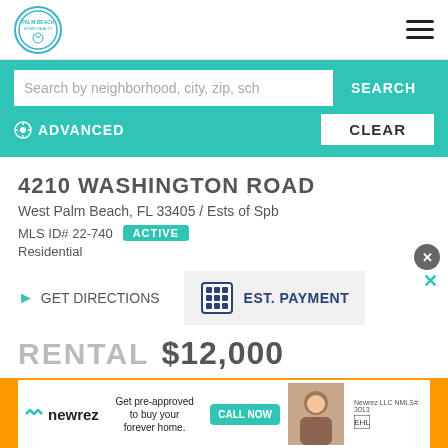[Figure (logo): Palm Beach real estate logo in teal circle]
Search by neighborhood, city, zip, sch
SEARCH
ADVANCED
CLEAR
4210 WASHINGTON ROAD
West Palm Beach, FL 33405 / Ests of Spb
MLS ID# 22-740  ACTIVE
Residential
GET DIRECTIONS
EST. PAYMENT
RENTAL $12,000
[Figure (screenshot): newrez advertisement banner - Get pre-approved to buy your forever home. CALL NOW]